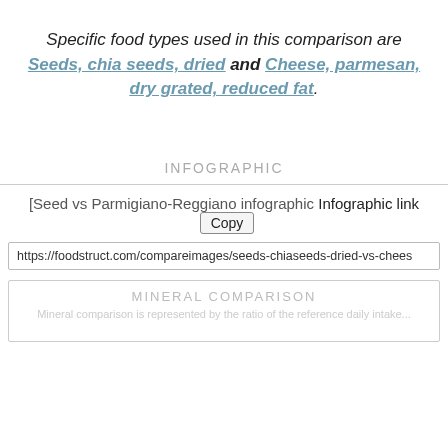Specific food types used in this comparison are Seeds, chia seeds, dried and Cheese, parmesan, dry grated, reduced fat.
INFOGRAPHIC
[Figure (infographic): Seed vs Parmigiano-Reggiano infographic with an Infographic link and a Copy button]
https://foodstruct.com/compareimages/seeds-chiaseeds-dried-vs-chees
MINERAL COMPARISON
Mineral comparison is represented by the ratio of the reference daily intake...